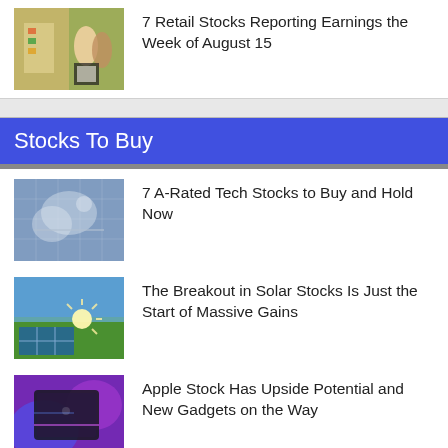[Figure (photo): Two retail workers in a grocery/store environment, one in black apron]
7 Retail Stocks Reporting Earnings the Week of August 15
[Figure (photo): Tech stocks image with digital/cloud imagery]
7 A-Rated Tech Stocks to Buy and Hold Now
[Figure (photo): Solar panels with bright sunlight breakout]
The Breakout in Solar Stocks Is Just the Start of Massive Gains
[Figure (photo): Apple device with purple/blue neon lighting]
Apple Stock Has Upside Potential and New Gadgets on the Way